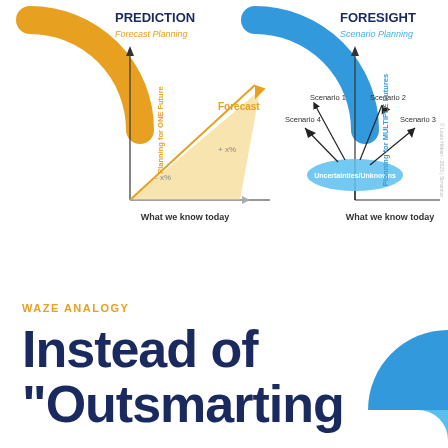[Figure (infographic): Two-panel comparison diagram. Left panel: PREDICTION / Forecast Planning — gold arc at top-left, vertical axis labeled 'Planning for ONE Future', horizontal axis labeled 'What we know today', gold shaded fan with 'Forecast' label and '+ x%' / '- x%' annotations. Right panel: FORESIGHT / Scenario Planning — blue arc at top-right, vertical axis labeled 'Planning for MULTIPLE Futures', horizontal axis labeled 'What we know today', blue oval labeled 'Uncertainties/Unknowns' with arrows to Scenario 1, Scenario 2, Scenario 3, Scenario 4.]
WAZE ANALOGY
Instead of "Outsmarting